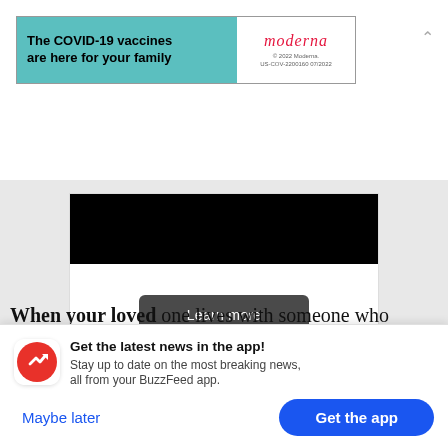[Figure (screenshot): Moderna COVID-19 vaccine advertisement banner: teal background on left with bold text 'The COVID-19 vaccines are here for your family', white panel on right with Moderna logo in red italic and fine print.]
[Figure (screenshot): Gray background section containing a white card with black image area on top and a dark gray 'Learn more' rounded button below.]
When your loved one lives with someone who could kill her, your mind finds strange refuge. As it
[Figure (screenshot): BuzzFeed app notification popup with red circular icon showing white arrow, title 'Get the latest news in the app!', body text 'Stay up to date on the most breaking news, all from your BuzzFeed app.' and two buttons: 'Maybe later' (blue text) and 'Get the app' (blue rounded button).]